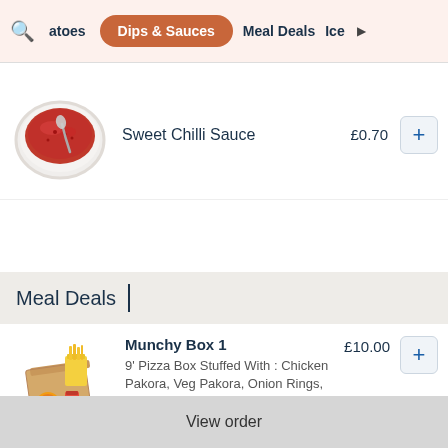atoes | Dips & Sauces | Meal Deals | Ice
Sweet Chilli Sauce £0.70
Meal Deals
Munchy Box 1 £10.00 9' Pizza Box Stuffed With : Chicken Pakora, Veg Pakora, Onion Rings, Chicken Nuggets, Chips, Donner
View order